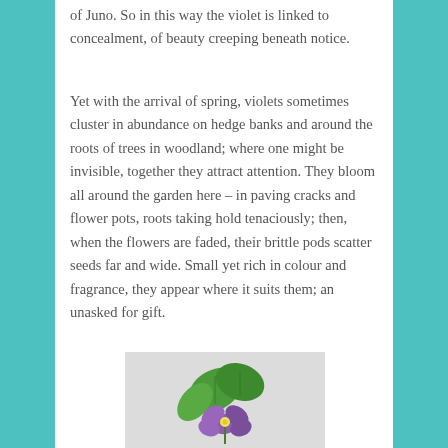of Juno. So in this way the violet is linked to concealment, of beauty creeping beneath notice.
Yet with the arrival of spring, violets sometimes cluster in abundance on hedge banks and around the roots of trees in woodland; where one might be invisible, together they attract attention. They bloom all around the garden here – in paving cracks and flower pots, roots taking hold tenaciously; then, when the flowers are faded, their brittle pods scatter seeds far and wide. Small yet rich in colour and fragrance, they appear where it suits them; an unasked for gift.
[Figure (illustration): An illustration of a violet flower with purple petals and green leaves against a light grey background.]